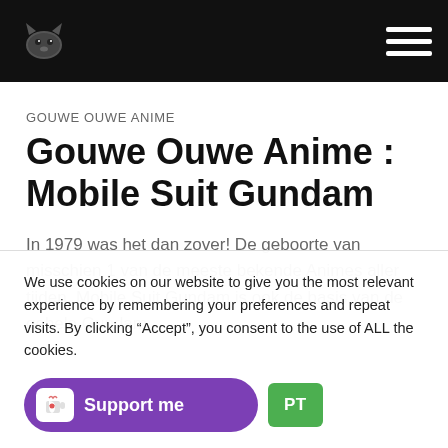Gouwe Ouwe Anime — Navigation header with logo and hamburger menu
GOUWE OUWE ANIME
Gouwe Ouwe Anime : Mobile Suit Gundam
In 1979 was het dan zover! De geboorte van misschien 1 van de meeste bekende Animes aller tijden. Mobile Suit Gundam is ook de basis van de gehele Gundam
We use cookies on our website to give you the most relevant experience by remembering your preferences and repeat visits. By clicking “Accept”, you consent to the use of ALL the cookies.